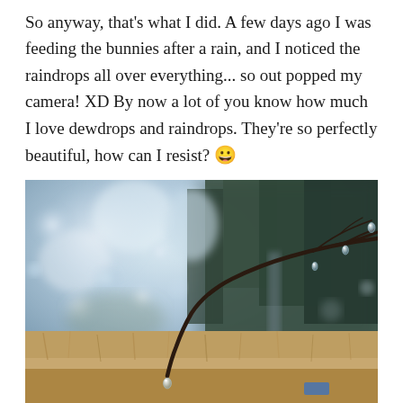So anyway, that's what I did. A few days ago I was feeding the bunnies after a rain, and I noticed the raindrops all over everything... so out popped my camera! XD By now a lot of you know how much I love dewdrops and raindrops. They're so perfectly beautiful, how can I resist? 😀
[Figure (photo): Close-up photograph of a bare tree branch with water droplets hanging from its tips, against a blurred bokeh background of trees and overcast sky, with dry grass visible in the lower portion.]